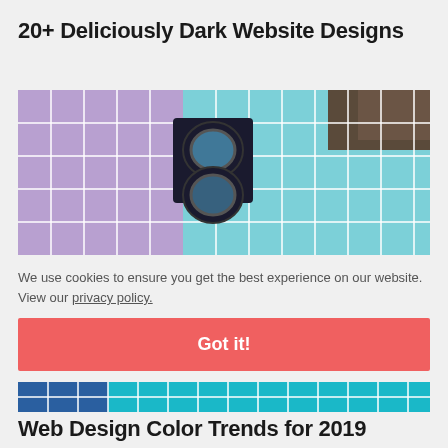20+ Deliciously Dark Website Designs
[Figure (photo): Color swatches grid with a loupe/magnifying lens tool placed on top, showing purple and teal color chips]
We use cookies to ensure you get the best experience on our website. View our privacy policy.
Got it!
[Figure (photo): Close-up of blue and teal color swatch grid]
Web Design Color Trends for 2019